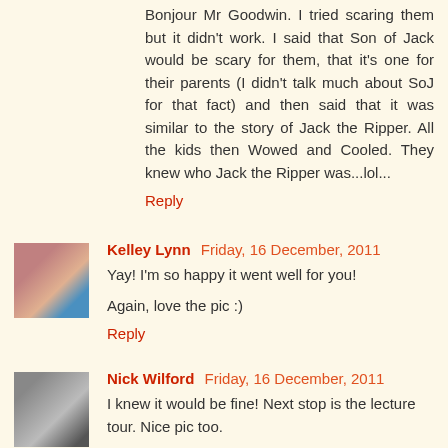Bonjour Mr Goodwin. I tried scaring them but it didn't work. I said that Son of Jack would be scary for them, that it's one for their parents (I didn't talk much about SoJ for that fact) and then said that it was similar to the story of Jack the Ripper. All the kids then Wowed and Cooled. They knew who Jack the Ripper was...lol...
Reply
Kelley Lynn  Friday, 16 December, 2011
Yay! I'm so happy it went well for you!

Again, love the pic :)
Reply
Nick Wilford  Friday, 16 December, 2011
I knew it would be fine! Next stop is the lecture tour. Nice pic too.
Reply